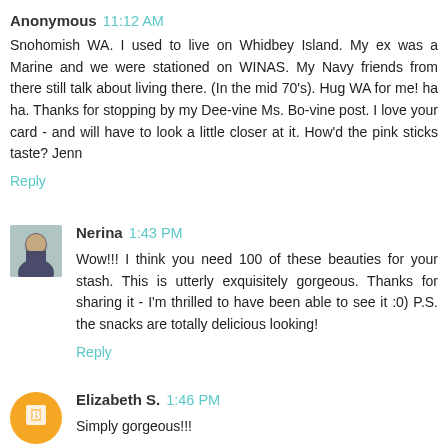Anonymous 11:12 AM
Snohomish WA. I used to live on Whidbey Island. My ex was a Marine and we were stationed on WINAS. My Navy friends from there still talk about living there. (In the mid 70's). Hug WA for me! ha ha. Thanks for stopping by my Dee-vine Ms. Bo-vine post. I love your card - and will have to look a little closer at it. How'd the pink sticks taste? Jenn
Reply
Nerina 1:43 PM
Wow!!! I think you need 100 of these beauties for your stash. This is utterly exquisitely gorgeous. Thanks for sharing it - I'm thrilled to have been able to see it :0) P.S. the snacks are totally delicious looking!
Reply
Elizabeth S. 1:46 PM
Simply gorgeous!!!